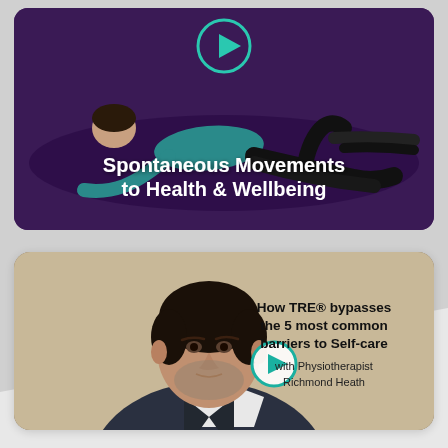[Figure (screenshot): Video thumbnail showing a woman lying on a purple yoga mat doing TRE exercises, with text overlay 'Spontaneous Movements to Health & Wellbeing' and a teal play button circle]
[Figure (screenshot): Video thumbnail showing a middle-aged man (Physiotherapist Richmond Heath) against a beige background, with text overlay 'How TRE® bypasses the 5 most common barriers to Self-care with Physiotherapist Richmond Heath' and a teal play button]